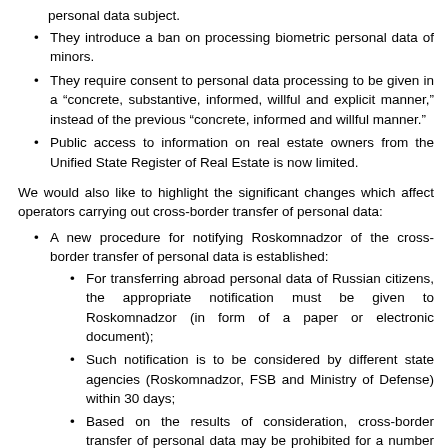personal data subject.
They introduce a ban on processing biometric personal data of minors.
They require consent to personal data processing to be given in a “concrete, substantive, informed, willful and explicit manner,” instead of the previous “concrete, informed and willful manner.”
Public access to information on real estate owners from the Unified State Register of Real Estate is now limited.
We would also like to highlight the significant changes which affect operators carrying out cross-border transfer of personal data:
A new procedure for notifying Roskomnadzor of the cross-border transfer of personal data is established:
For transferring abroad personal data of Russian citizens, the appropriate notification must be given to Roskomnadzor (in form of a paper or electronic document);
Such notification is to be considered by different state agencies (Roskomnadzor, FSB and Ministry of Defense) within 30 days;
Based on the results of consideration, cross-border transfer of personal data may be prohibited for a number of reasons, e.g. in order to protect the constitutional order of the Russian